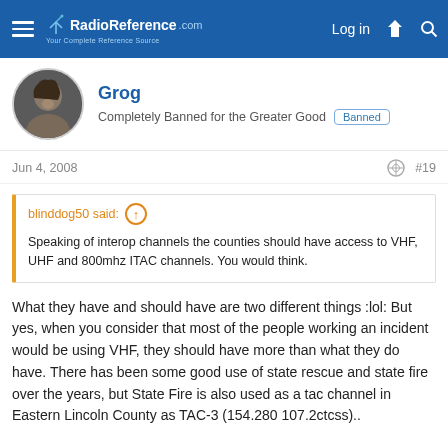RadioReference.com — Log in
Grog
Completely Banned for the Greater Good  Banned
Jun 4, 2008  #19
blinddog50 said: ↑ Speaking of interop channels the counties should have access to VHF, UHF and 800mhz ITAC channels. You would think.
What they have and should have are two different things :lol: But yes, when you consider that most of the people working an incident would be using VHF, they should have more than what they do have. There has been some good use of state rescue and state fire over the years, but State Fire is also used as a tac channel in Eastern Lincoln County as TAC-3 (154.280 107.2ctcss)..